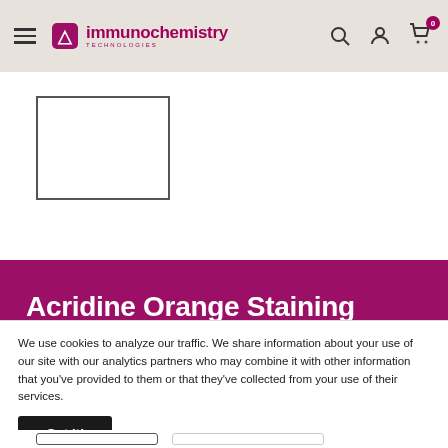immunochemistry TECHNOLOGIES
[Figure (other): Product image placeholder - empty white rectangle with dark border]
Acridine Orange Staining Solution
We use cookies to analyze our traffic. We share information about your use of our site with our analytics partners who may combine it with other information that you’ve provided to them or that they’ve collected from your use of their services.